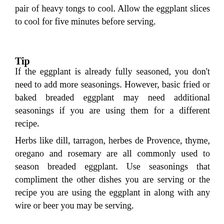pair of heavy tongs to cool. Allow the eggplant slices to cool for five minutes before serving.
Tip
If the eggplant is already fully seasoned, you don't need to add more seasonings. However, basic fried or baked breaded eggplant may need additional seasonings if you are using them for a different recipe.
Herbs like dill, tarragon, herbes de Provence, thyme, oregano and rosemary are all commonly used to season breaded eggplant. Use seasonings that compliment the other dishes you are serving or the recipe you are using the eggplant in along with any wire or beer you may be serving.